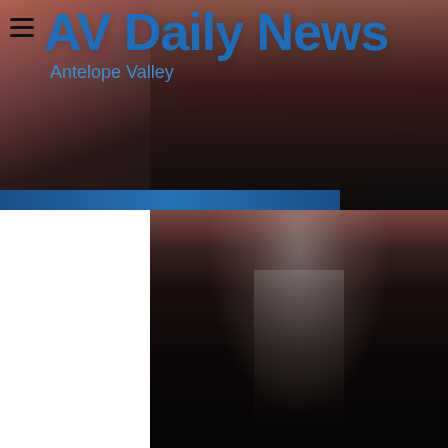AV Daily News — Antelope Valley
[Figure (photo): Blurred photo of a man in a dark suit with tie, cropped to show neck and torso area with dark background]
Palmdale-Councilman Frederick Thompson has announced today that he will seek re-election, for District Two November 8, 2016 ballot.
The City Council appointed Fred